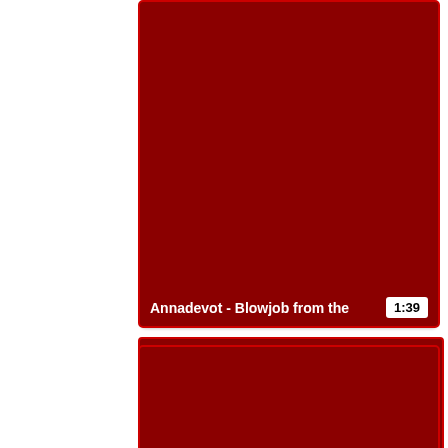[Figure (screenshot): Video thumbnail card 1: dark red/maroon thumbnail image with title 'Annadevot - Blowjob from the' and duration badge '1:39']
[Figure (screenshot): Video thumbnail card 2: dark red/maroon thumbnail image with title 'Colombian ebony rides a dick with' and duration badge '4:19']
[Figure (screenshot): Video thumbnail card 3: dark red/maroon thumbnail image, partially visible at bottom of page]